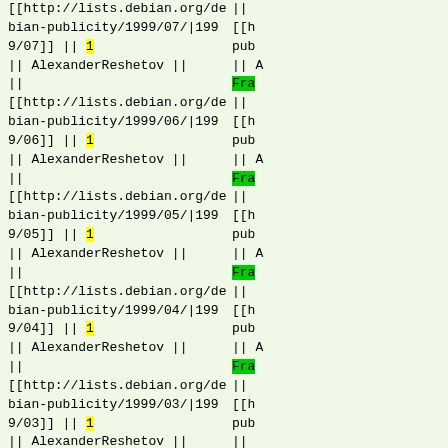[[http://lists.debian.org/debian-publicity/1999/07/|1999/07]] || 1 || AlexanderReshetov ||
||
[[http://lists.debian.org/debian-publicity/1999/06/|1999/06]] || 1 || AlexanderReshetov ||
||
[[http://lists.debian.org/debian-publicity/1999/05/|1999/05]] || 1 || AlexanderReshetov ||
||
[[http://lists.debian.org/debian-publicity/1999/04/|1999/04]] || 1 || AlexanderReshetov ||
||
[[http://lists.debian.org/debian-publicity/1999/03/|1999/03]] || 1 || AlexanderReshetov ||
(right column partial content with highlighted sections)